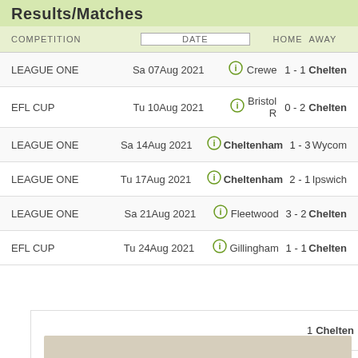Results/Matches
| COMPETITION | DATE |  | HOME |  | AWAY |
| --- | --- | --- | --- | --- | --- |
| LEAGUE ONE | Sa 07Aug 2021 |  | Crewe | 1 - 1 | Cheltenham |
| EFL CUP | Tu 10Aug 2021 |  | Bristol R | 0 - 2 | Cheltenham |
| LEAGUE ONE | Sa 14Aug 2021 |  | Cheltenham | 1 - 3 | Wycom |
| LEAGUE ONE | Tu 17Aug 2021 |  | Cheltenham | 2 - 1 | Ipswich |
| LEAGUE ONE | Sa 21Aug 2021 |  | Fleetwood | 3 - 2 | Cheltenham |
| EFL CUP | Tu 24Aug 2021 |  | Gillingham | 1 - 1 | Cheltenham |
This website uses cookies to give you the best and most relevant experience. You can change your cookie preferences at any time and find out more about our cookie policy by following this link.

By continuing to use this site you are giving consent to our use of cookies on Racing Post websites in accordance with our cookie policy.